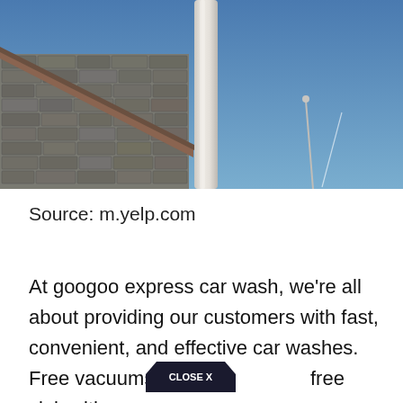[Figure (photo): Exterior photo of a car wash building with stone/shingle siding on the left, a large white pole or column in the center, blue sky in the background, and a distant street lamp and contrail visible on the right side.]
Source: m.yelp.com
At googoo express car wash, we're all about providing our customers with fast, convenient, and effective car washes. Free vacuums, free rug free sink with